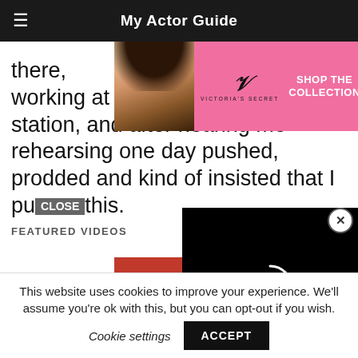My Actor Guide
[Figure (advertisement): Victoria's Secret advertisement banner with model and text 'SHOP THE COLLECTION' and 'SHOP NOW' button on pink background]
there, working at a major market radio station, and after hearing me rehearsing one day pushed, prodded and kind of insisted that I pu [CLOSE] this.
FEATURED VIDEOS
[Figure (advertisement): Advertisement with red background and text 'KISS BORING LIPS GOODBYE' with woman model]
[Figure (other): Video player overlay on black background with loading spinner arc and close X button]
This website uses cookies to improve your experience. We'll assume you're ok with this, but you can opt-out if you wish.
Cookie settings
ACCEPT